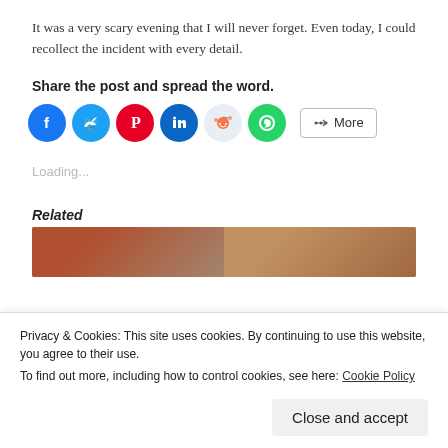It was a very scary evening that I will never forget. Even today, I could recollect the incident with every detail.
Share the post and spread the word.
[Figure (infographic): Row of social share buttons: Facebook (blue), Twitter (cyan), Pinterest (red), LinkedIn (dark blue), Reddit (light blue), WhatsApp (green), and a More button]
Loading...
Related
[Figure (photo): Related article image strip, partially visible]
Privacy & Cookies: This site uses cookies. By continuing to use this website, you agree to their use.
To find out more, including how to control cookies, see here: Cookie Policy